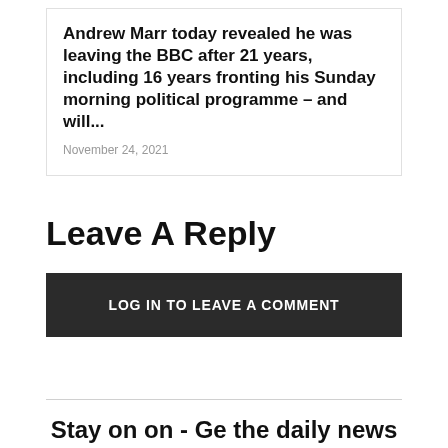Andrew Marr today revealed he was leaving the BBC after 21 years, including 16 years fronting his Sunday morning political programme – and will...
November 24, 2021
Leave A Reply
LOG IN TO LEAVE A COMMENT
Stay on on - Ge the daily news in